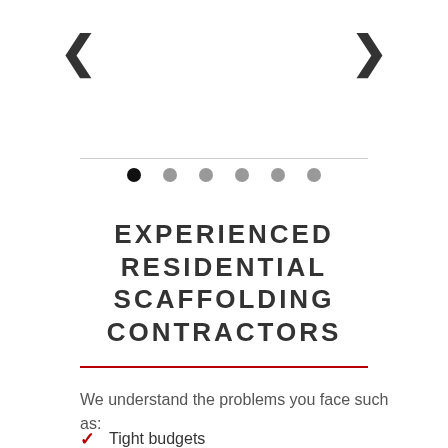[Figure (screenshot): Navigation arrows (left and right chevrons) with carousel dot indicators below a horizontal rule]
EXPERIENCED RESIDENTIAL SCAFFOLDING CONTRACTORS
We understand the problems you face such as:
Tight budgets